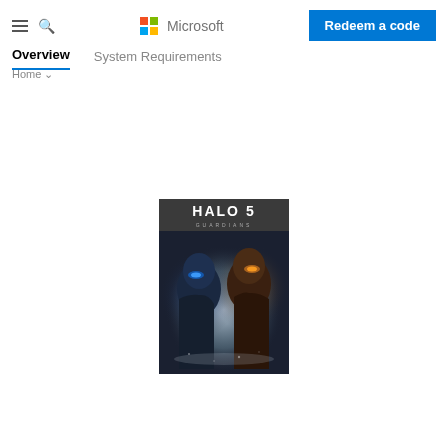Microsoft — Overview | System Requirements | Redeem a code
[Figure (screenshot): Halo 5: Guardians game cover art showing two armored figures facing each other — one blue-lit (Agent Locke) and one gold-lit (Master Chief) — against a white/grey background, with the text HALO 5 GUARDIANS at the top]